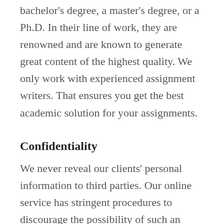bachelor's degree, a master's degree, or a Ph.D. In their line of work, they are renowned and are known to generate great content of the highest quality. We only work with experienced assignment writers. That ensures you get the best academic solution for your assignments.
Confidentiality
We never reveal our clients' personal information to third parties. Our online service has stringent procedures to discourage the possibility of such an incident. No one will be able to leak your data, and all your payment details will